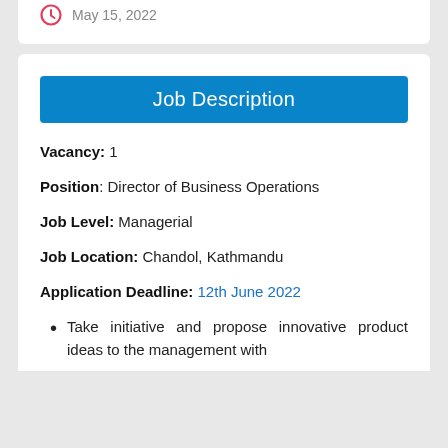May 15, 2022
Job Description
Vacancy: 1
Position: Director of Business Operations
Job Level: Managerial
Job Location: Chandol, Kathmandu
Application Deadline: 12th June 2022
Take initiative and propose innovative product ideas to the management with